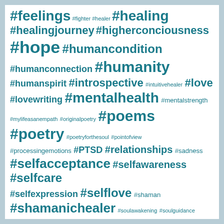[Figure (infographic): Word cloud of hashtags related to mental health, poetry, healing, and spirituality. Tags displayed in varying sizes in teal/blue-green color on white background with water texture border. Tags include: #feelings #fighter #healer #healing #healingjourney #higherconciousness #hope #humancondition #humanconnection #humanity #humanspirit #introspective #intuitivehealer #love #lovewriting #mentalhealth #mentalstrength #mylifeasanempath #originalpoetry #poems #poetry #poetryforthesoul #pointofview #processingemotions #PTSD #relationships #sadness #selfacceptance #selfawareness #selfcare #selfexpression #selflove #shaman #shamanichealer #soulawakening #soulguidance #soulhealing #spilledink #spiritualadvisor]